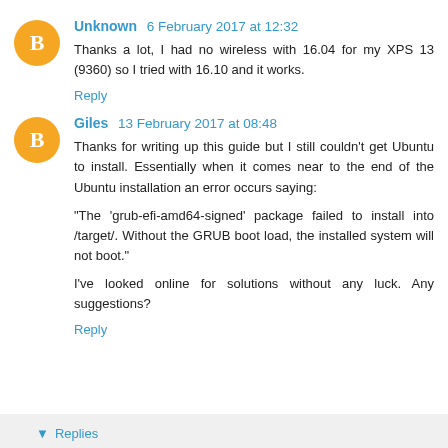Unknown 6 February 2017 at 12:32
Thanks a lot, I had no wireless with 16.04 for my XPS 13 (9360) so I tried with 16.10 and it works.
Reply
Giles 13 February 2017 at 08:48
Thanks for writing up this guide but I still couldn't get Ubuntu to install. Essentially when it comes near to the end of the Ubuntu installation an error occurs saying:
"The 'grub-efi-amd64-signed' package failed to install into /target/. Without the GRUB boot load, the installed system will not boot."
I've looked online for solutions without any luck. Any suggestions?
Reply
Replies